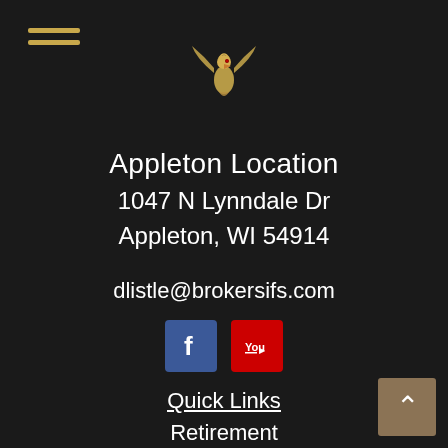[Figure (logo): Eagle/bird logo icon in gold/silver tones centered at top]
Appleton Location
1047 N Lynndale Dr
Appleton, WI 54914
dlistle@brokersifs.com
[Figure (illustration): Facebook and YouTube social media icons]
Quick Links
Retirement
Investment
Estate
Insurance
Tax
Money
Lifestyle